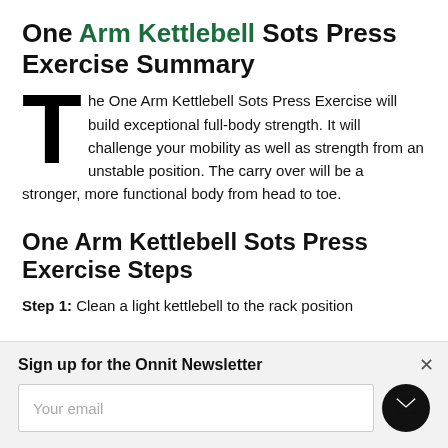One Arm Kettlebell Sots Press Exercise Summary
The One Arm Kettlebell Sots Press Exercise will build exceptional full-body strength. It will challenge your mobility as well as strength from an unstable position. The carry over will be a stronger, more functional body from head to toe.
One Arm Kettlebell Sots Press Exercise Steps
Step 1: Clean a light kettlebell to the rack position
Sign up for the Onnit Newsletter
Your email